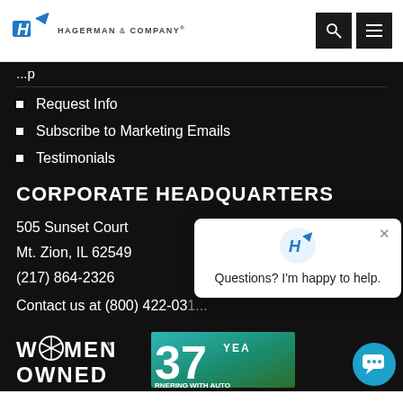[Figure (logo): Hagerman & Company logo with stylized H icon and company name]
Request Info
Subscribe to Marketing Emails
Testimonials
CORPORATE HEADQUARTERS
505 Sunset Court
Mt. Zion, IL 62549
(217) 864-2326
Contact us at (800) 422-031...
[Figure (logo): Women Owned logo badge]
[Figure (infographic): 37 Years partnering with Auto... badge]
[Figure (screenshot): Chat popup: Questions? I'm happy to help.]